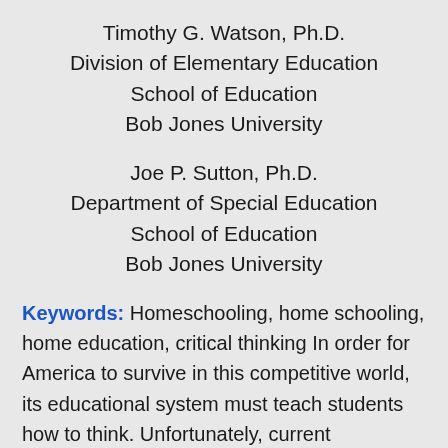Timothy G. Watson, Ph.D.
Division of Elementary Education
School of Education
Bob Jones University
Joe P. Sutton, Ph.D.
Department of Special Education
School of Education
Bob Jones University
Keywords: Homeschooling, home schooling, home education, critical thinking In order for America to survive in this competitive world, its educational system must teach students how to think. Unfortunately, current educational systems